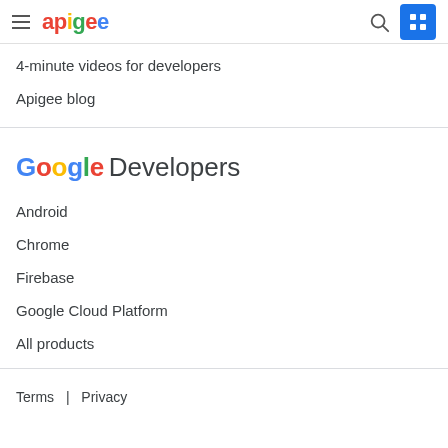apigee
4-minute videos for developers
Apigee blog
[Figure (logo): Google Developers logo with multicolor Google text and grey Developers text]
Android
Chrome
Firebase
Google Cloud Platform
All products
Terms  |  Privacy